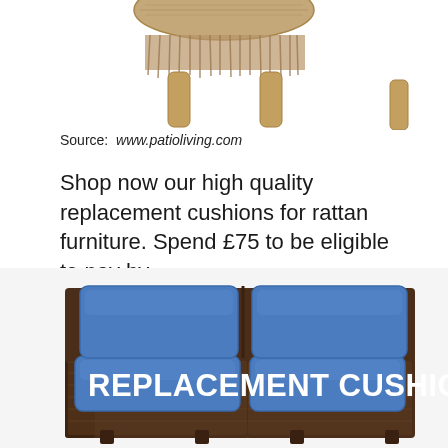[Figure (photo): Top portion of a rattan/wicker stool or table with wooden legs on white background, partially cropped at top of page]
Source: www.patioliving.com
Shop now our high quality replacement cushions for rattan furniture. Spend £75 to be eligible to pay by.
[Figure (photo): Wicker/rattan corner sofa sectional with blue replacement cushions on seat and back, dark brown woven frame, with white bold text overlay reading 'Replacement Cushions']